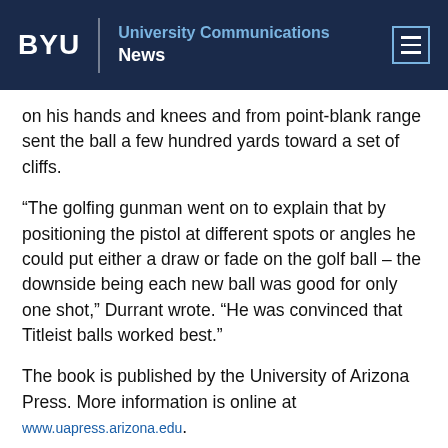BYU | University Communications News
on his hands and knees and from point-blank range sent the ball a few hundred yards toward a set of cliffs.
“The golfing gunman went on to explain that by positioning the pistol at different spots or angles he could put either a draw or fade on the golf ball – the downside being each new ball was good for only one shot,” Durrant wrote. “He was convinced that Titleist balls worked best.”
The book is published by the University of Arizona Press. More information is online at www.uapress.arizona.edu.
Writer: Charlene Winters